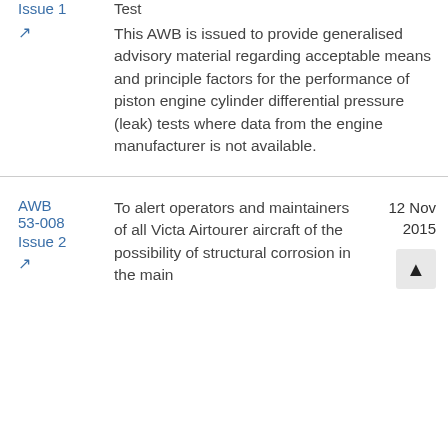Issue 1
Test
[external link icon]
This AWB is issued to provide generalised advisory material regarding acceptable means and principle factors for the performance of piston engine cylinder differential pressure (leak) tests where data from the engine manufacturer is not available.
AWB 53-008
Issue 2
[external link icon]
To alert operators and maintainers of all Victa Airtourer aircraft of the possibility of structural corrosion in the main
12 Nov 2015